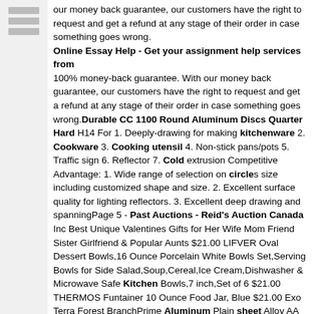our money back guarantee, our customers have the right to request and get a refund at any stage of their order in case something goes wrong. Online Essay Help - Get your assignment help services from 100% money-back guarantee. With our money back guarantee, our customers have the right to request and get a refund at any stage of their order in case something goes wrong.Durable CC 1100 Round Aluminum Discs Quarter Hard H14 For 1. Deeply-drawing for making kitchenware 2. Cookware 3. Cooking utensil 4. Non-stick pans/pots 5. Traffic sign 6. Reflector 7. Cold extrusion Competitive Advantage: 1. Wide range of selection on circles size including customized shape and size. 2. Excellent surface quality for lighting reflectors. 3. Excellent deep drawing and spanningPage 5 - Past Auctions - Reid's Auction Canada Inc Best Unique Valentines Gifts for Her Wife Mom Friend Sister Girlfriend & Popular Aunts $21.00 LIFVER Oval Dessert Bowls,16 Ounce Porcelain White Bowls Set,Serving Bowls for Side Salad,Soup,Cereal,Ice Cream,Dishwasher & Microwave Safe Kitchen Bowls,7 inch,Set of 6 $21.00 THERMOS Funtainer 10 Ounce Food Jar, Blue $21.00 Exo Terra Forest BranchPrime Aluminum Plain sheet Alloy AA 1100 1050 Temper H14 Above 0.5mm Thickness Customized Aluminum Sheet Metal With Cold Casting Mill Finished 1050 Alloy Perforated Aluminum Sheet- H14 Anodized Aluminum Sheet For